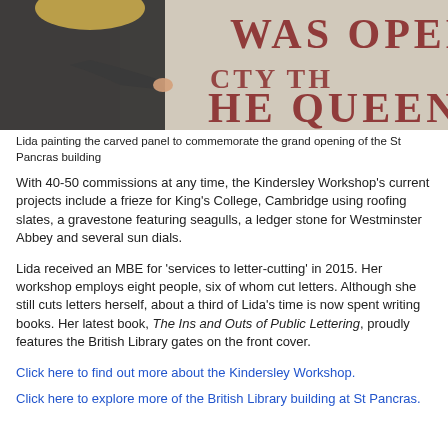[Figure (photo): A woman (Lida) painting the carved stone panel with red lettering reading 'WAS OPENED BY' and 'THE QUEEN', commemorating the grand opening of the St Pancras building.]
Lida painting the carved panel to commemorate the grand opening of the St Pancras building
With 40-50 commissions at any time, the Kindersley Workshop's current projects include a frieze for King's College, Cambridge using roofing slates, a gravestone featuring seagulls, a ledger stone for Westminster Abbey and several sun dials.
Lida received an MBE for 'services to letter-cutting' in 2015. Her workshop employs eight people, six of whom cut letters. Although she still cuts letters herself, about a third of Lida's time is now spent writing books. Her latest book, The Ins and Outs of Public Lettering, proudly features the British Library gates on the front cover.
Click here to find out more about the Kindersley Workshop.
Click here to explore more of the British Library building at St Pancras.